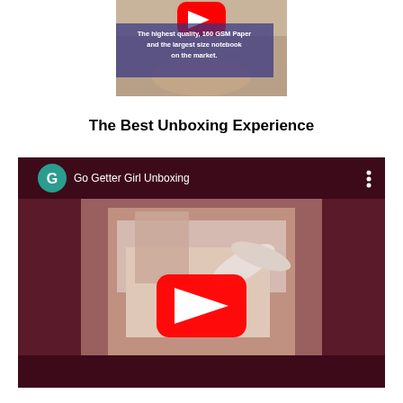[Figure (screenshot): A video thumbnail screenshot showing a YouTube play button at top and a semi-transparent blue-purple overlay caption reading 'The highest quality, 160 GSM Paper and the largest size notebook on the market.' overlaid on an image of hands holding a notebook.]
The Best Unboxing Experience
[Figure (screenshot): An embedded YouTube video player with dark maroon background showing 'Go Getter Girl Unboxing' title, a teal avatar with 'G', and a video thumbnail of someone unboxing a notebook with a large red YouTube play button in the center.]